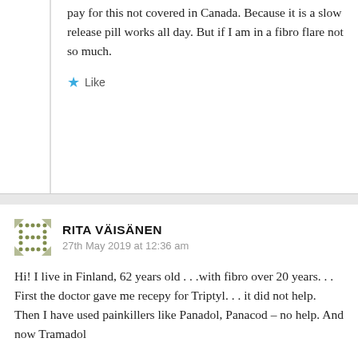pay for this not covered in Canada. Because it is a slow release pill works all day. But if I am in a fibro flare not so much.
Like
RITA VÄISÄNEN
27th May 2019 at 12:36 am
Hi! I live in Finland, 62 years old . . .with fibro over 20 years. . . First the doctor gave me recepy for Triptyl. . . it did not help. Then I have used painkillers like Panadol, Panacod – no help. And now Tramadol